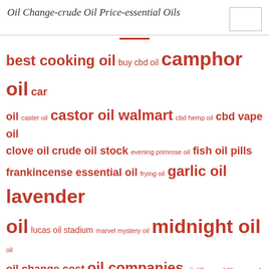Oil Change-crude Oil Price-essential Oils
[Figure (infographic): Tag cloud of oil-related search terms in various font sizes, all rendered in orange/red color. Terms include: best cooking oil, buy cbd oil, camphor oil, car oil, caster oil, castor oil walmart, cbd hemp oil, cbd vape oil, clove oil, crude oil stock, evening primrose oil, fish oil pills, frankincense essential oil, frying oil, garlic oil, lavender oil, lucas oil stadium, marvel mystery oil, midnight oil, oil, oil change cost, oil companies, oil diffuser, oil filter wrench, oil painting, oil pan, oil price news, oil pulling, oil vape pen, olive oil cake, olive oil calories, oregano oil benefits, peanut oil, pumpkin seed oil, revive oils, rick simpson oil, rosehip oil]